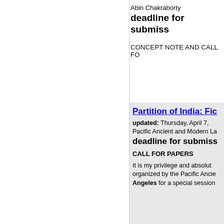Abin Chakraborty
deadline for submiss
CONCEPT NOTE AND CALL FO
Partition of India: Fic
updated: Thursday, April 7,
Pacific Ancient and Modern La
deadline for submiss
CALL FOR PAPERS
It is my privilege and absolut organized by the Pacific Ancie Angeles for a special session